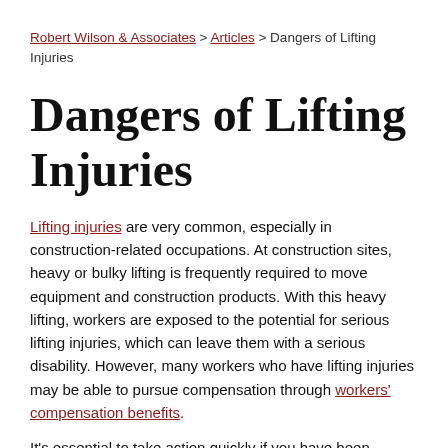Robert Wilson & Associates > Articles > Dangers of Lifting Injuries
Dangers of Lifting Injuries
Lifting injuries are very common, especially in construction-related occupations. At construction sites, heavy or bulky lifting is frequently required to move equipment and construction products. With this heavy lifting, workers are exposed to the potential for serious lifting injuries, which can leave them with a serious disability. However, many workers who have lifting injuries may be able to pursue compensation through workers' compensation benefits.
It's essential to take action quickly if you have been injured by lifting equipment on the job. If you or someone you know has been injured or developed a